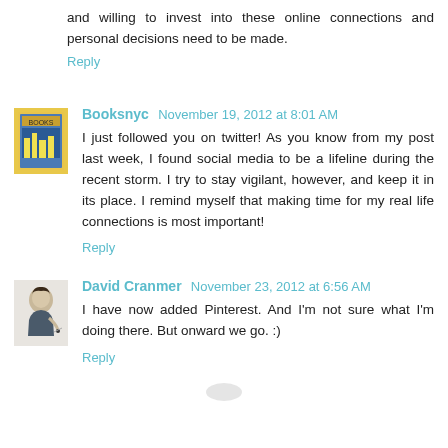and willing to invest into these online connections and personal decisions need to be made.
Reply
Booksnyc November 19, 2012 at 8:01 AM
I just followed you on twitter! As you know from my post last week, I found social media to be a lifeline during the recent storm. I try to stay vigilant, however, and keep it in its place. I remind myself that making time for my real life connections is most important!
Reply
David Cranmer November 23, 2012 at 6:56 AM
I have now added Pinterest. And I'm not sure what I'm doing there. But onward we go. :)
Reply